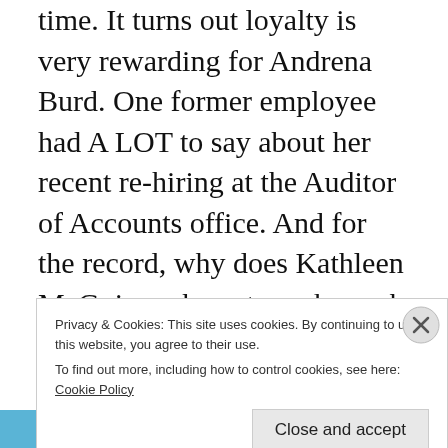time.  It turns out loyalty is very rewarding for Andrena Burd.  One former employee had A LOT to say about her recent re-hiring at the Auditor of Accounts office.  And for the record, why does Kathleen McGuiness have to make such a big deal with these swearing-in ceremonies?  Is this just practice for her dream to become the Governor of Delaware?  Or does she have her eyes set
Privacy & Cookies: This site uses cookies. By continuing to use this website, you agree to their use.
To find out more, including how to control cookies, see here: Cookie Policy